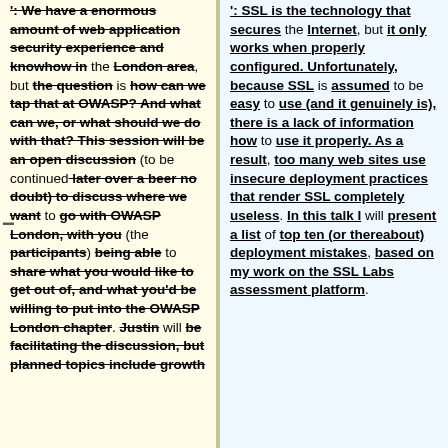': We have a enormous amount of web application security experience and knowhow in the London area, but the question is how can we tap that at OWASP? And what can we, or what should we do with that? This session will be an open discussion (to be continued later over a beer no doubt) to discuss where we want to go with OWASP London, with you (the participants) being able to share what you would like to get out of, and what you'd be willing to put into the OWASP London chapter. Justin will be facilitating the discussion, but planned topics include growth
': SSL is the technology that secures the Internet, but it only works when properly configured. Unfortunately, because SSL is assumed to be easy to use (and it genuinely is), there is a lack of information how to use it properly. As a result, too many web sites use insecure deployment practices that render SSL completely useless. In this talk I will present a list of top ten (or thereabout) deployment mistakes, based on my work on the SSL Labs assessment platform.